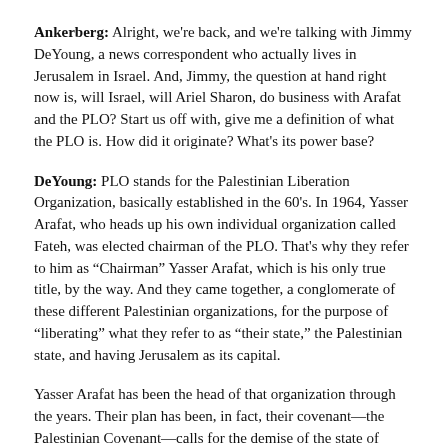Ankerberg: Alright, we're back, and we're talking with Jimmy DeYoung, a news correspondent who actually lives in Jerusalem in Israel. And, Jimmy, the question at hand right now is, will Israel, will Ariel Sharon, do business with Arafat and the PLO? Start us off with, give me a definition of what the PLO is. How did it originate? What's its power base?
DeYoung: PLO stands for the Palestinian Liberation Organization, basically established in the 60's. In 1964, Yasser Arafat, who heads up his own individual organization called Fateh, was elected chairman of the PLO. That's why they refer to him as "Chairman" Yasser Arafat, which is his only true title, by the way. And they came together, a conglomerate of these different Palestinian organizations, for the purpose of "liberating" what they refer to as "their state," the Palestinian state, and having Jerusalem as its capital.
Yasser Arafat has been the head of that organization through the years. Their plan has been, in fact, their covenant—the Palestinian Covenant—calls for the demise of the state of Israel, the destruction of the Jewish state, and the pushing into the